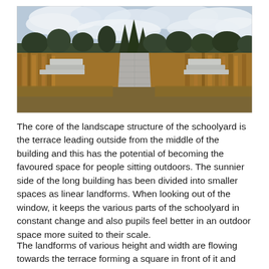[Figure (photo): A paved pathway leading through tall golden-brown grasses and wild vegetation, with concrete bench-like structures on either side, evergreen trees in the background, and a cloudy sky above. Landscape architecture in a schoolyard setting.]
The core of the landscape structure of the schoolyard is the terrace leading outside from the middle of the building and this has the potential of becoming the favoured space for people sitting outdoors. The sunnier side of the long building has been divided into smaller spaces as linear landforms. When looking out of the window, it keeps the various parts of the schoolyard in constant change and also pupils feel better in an outdoor space more suited to their scale.
The landforms of various height and width are flowing towards the terrace forming a square in front of it and